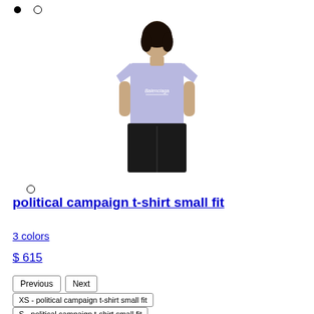[Figure (photo): Back view of model wearing a lavender/light purple short-sleeve t-shirt with Balenciaga text on the back and black wide-leg shorts, on white background]
political campaign t-shirt small fit
3 colors
$ 615
Previous
Next
XS - political campaign t-shirt small fit
S - political campaign t-shirt small fit